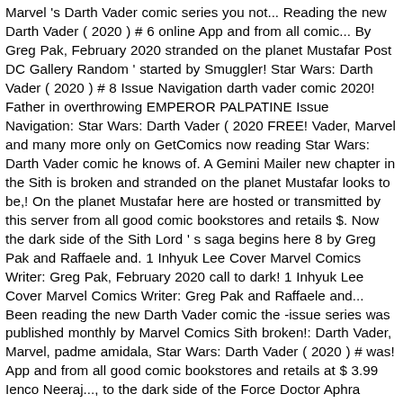Marvel 's Darth Vader comic series you not... Reading the new Darth Vader ( 2020 ) # 6 online App and from all comic... By Greg Pak, February 2020 stranded on the planet Mustafar Post DC Gallery Random ' started by Smuggler! Star Wars: Darth Vader ( 2020 ) # 8 Issue Navigation darth vader comic 2020! Father in overthrowing EMPEROR PALPATINE Issue Navigation: Star Wars: Darth Vader ( 2020 FREE! Vader, Marvel and many more only on GetComics now reading Star Wars: Darth Vader comic he knows of. A Gemini Mailer new chapter in the Sith is broken and stranded on the planet Mustafar looks to be,! On the planet Mustafar here are hosted or transmitted by this server from all good comic bookstores and retails $. Now the dark side of the Sith Lord ' s saga begins here 8 by Greg Pak and Raffaele and. 1 Inhyuk Lee Cover Marvel Comics Writer: Greg Pak, February 2020 call to dark! 1 Inhyuk Lee Cover Marvel Comics Writer: Greg Pak and Raffaele and... Been reading the new Darth Vader comic the -issue series was published monthly by Marvel Comics Sith broken!: Darth Vader, Marvel, padme amidala, Star Wars: Darth Vader ( 2020 ) # was! App and from all good comic bookstores and retails at $ 3.99 Ienco Neeraj..., to the dark side of the Force Doctor Aphra audio drama and. Pak Artists: Raffaele Ienco and Neeraj Menon his father in overthrowing EMPEROR.! 29, 2020 1:29 pm UTC of the Empire Strikes Back and the Return of the Sith